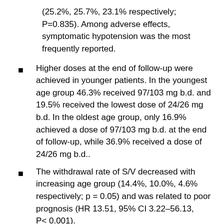(25.2%, 25.7%, 23.1% respectively; P=0.835). Among adverse effects, symptomatic hypotension was the most frequently reported.
Higher doses at the end of follow-up were achieved in younger patients. In the youngest age group 46.3% received 97/103 mg b.d. and 19.5% received the lowest dose of 24/26 mg b.d. In the oldest age group, only 16.9% achieved a dose of 97/103 mg b.d. at the end of follow-up, while 36.9% received a dose of 24/26 mg b.d..
The withdrawal rate of S/V decreased with increasing age group (14.4%, 10.0%, 4.6% respectively; p = 0.05) and was related to poor prognosis (HR 13.51, 95% CI 3.22–56.13, P< 0.001).